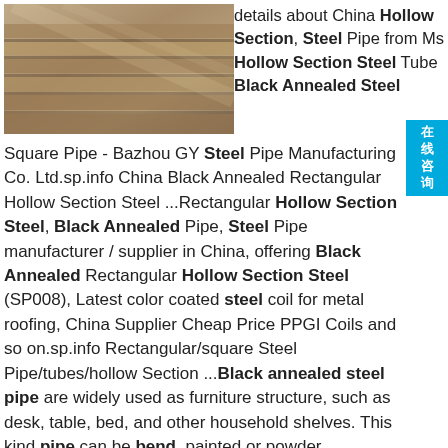[Figure (photo): Photo of stacked flat steel hollow section plates/tubes with metallic gold/bronze surface finish]
details about China Hollow Section, Steel Pipe from Ms Hollow Section Steel Tube Black Annealed Steel Square Pipe - Bazhou GY Steel Pipe Manufacturing Co. Ltd.sp.info China Black Annealed Rectangular Hollow Section Steel ...Rectangular Hollow Section Steel, Black Annealed Pipe, Steel Pipe manufacturer / supplier in China, offering Black Annealed Rectangular Hollow Section Steel (SP008), Latest color coated steel coil for metal roofing, China Supplier Cheap Price PPGI Coils and so on.sp.info Rectangular/square Steel Pipe/tubes/hollow Section ...Black annealed steel pipe are widely used as furniture structure, such as desk, table, bed, and other household shelves. This kind pipe can be bend, painted or powder coated.sp.info China Cold Rolled Black Annealing Rectangular/square Steel ...China Cold Rolled Black Annealing Rectangular/square Steel Pipe/tubes/hollow Section , Find Complete Details about China Cold Rolled